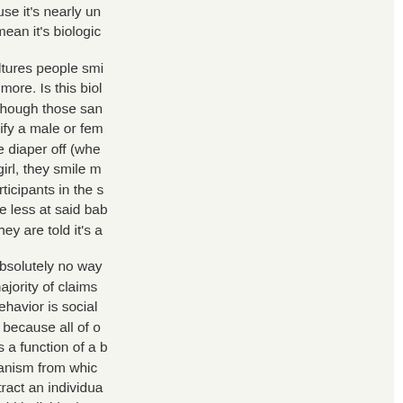Just because it's nearly universal does not mean it's biological.
Across cultures people smile at baby girls more. Is this biological? Possibly, though those same people can't identify a male or female baby without the diaper off (when told a baby is a girl, they smile more, but if other participants in the same study smile less at said baby because they are told it's a boy).
There is absolutely no way to test the vast majority of claims about whether behavior is social or biological, because all of our behavior is a function of a bio-social organism from which we cannot extract an individual without harming said individual.
Until we figure out a way to isolate a baby from birth without harming the baby, I'm going to assume that my girls can do whatever boys can do intellectually. I don't have a good reason to assume otherwise.